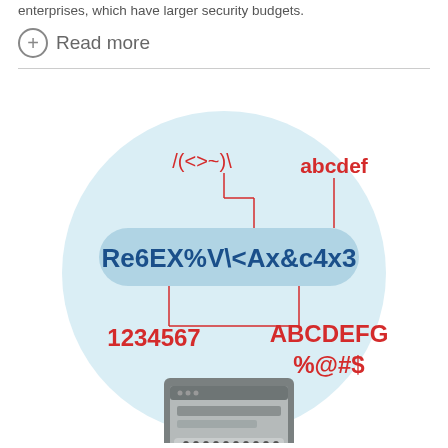enterprises, which have larger security budgets.
Read more
[Figure (illustration): An infographic showing a strong password example 'Re6EX%V\<Ax&c4x3' displayed in a rounded blue pill shape, with annotated labels pointing to different character types: /(<>~)\ for special regex characters (top left, red), abcdef for lowercase letters (top right, red), 1234567 for numbers (bottom left, red bold), ABCDEFG %@#$ for uppercase and special characters (bottom right, red bold). The circle has a light blue background and contains a stylized computer/tablet illustration at the bottom.]